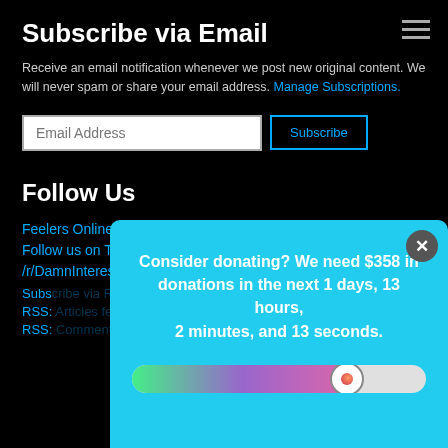Subscribe via Email
Receive an email notification whenever we post new original content. We will never spam or share your email address. Manage Subscriptions.
Follow Us
Feelers Online
Follow us on Twitter
/r/DamnInteresting subreddit
Subs...
RSS:...
RSS:...
[Figure (infographic): A popup banner with a cyan/blue background showing a donation countdown message: 'Consider donating? We need $358 in donations in the next 1 days, 13 hours, 2 minutes, and 13 seconds.' with a gradient progress bar below it and an X close button.]